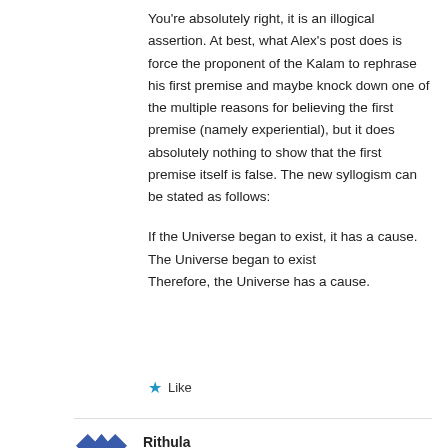You're absolutely right, it is an illogical assertion. At best, what Alex's post does is force the proponent of the Kalam to rephrase his first premise and maybe knock down one of the multiple reasons for believing the first premise (namely experiential), but it does absolutely nothing to show that the first premise itself is false. The new syllogism can be stated as follows:
If the Universe began to exist, it has a cause.
The Universe began to exist
Therefore, the Universe has a cause.
Like
Rithula
November 12, 2020 at 4:03 PM